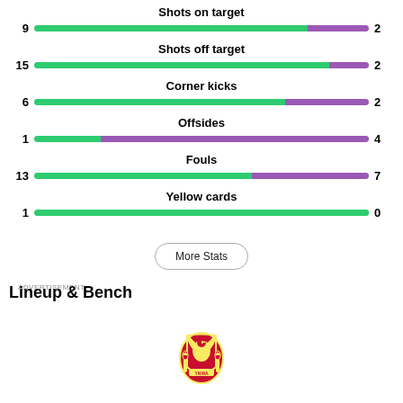[Figure (infographic): Match statistics comparison bars for: Shots on target (9 vs 2), Shots off target (15 vs 2), Corner kicks (6 vs 2), Offsides (1 vs 4), Fouls (13 vs 7), Yellow cards (1 vs 0). Each stat has a horizontal bar split green for home team and purple for away team, with values on each side.]
More Stats
ADVERTISEMENT
Lineup & Bench
[Figure (logo): Liverpool FC crest logo]